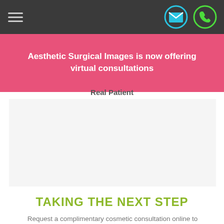Navigation bar with hamburger menu and email/phone icons
Aesthetic Surgical Images is now offering virtual consultations
Real Patient
[Figure (photo): Real patient photo placeholder area - light gray background]
TAKING THE NEXT STEP
Request a complimentary cosmetic consultation online to